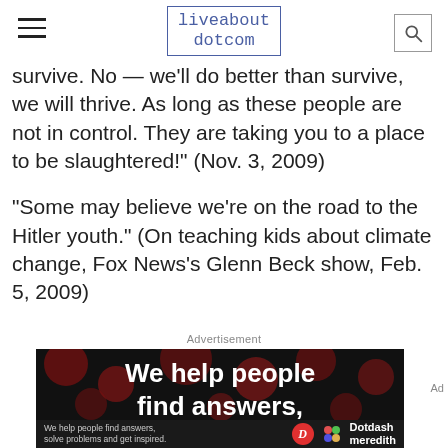liveabout dotcom
survive. No — we'll do better than survive, we will thrive. As long as these people are not in control. They are taking you to a place to be slaughtered!" (Nov. 3, 2009)
"Some may believe we're on the road to the Hitler youth." (On teaching kids about climate change, Fox News's Glenn Beck show, Feb. 5, 2009)
Advertisement
[Figure (other): Advertisement banner: black background with red bokeh dots, bold white text 'We help people find answers,' and a bottom bar showing 'We help people find answers, solve problems and get inspired.' with Dotdash Meredith logo]